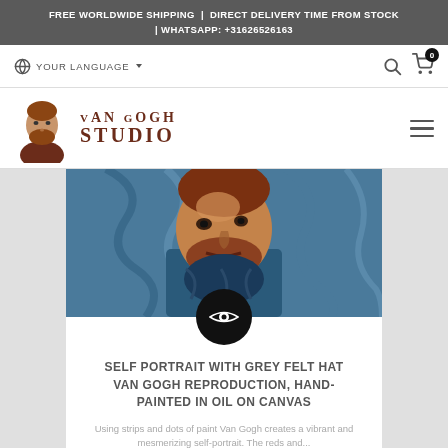FREE WORLDWIDE SHIPPING | DIRECT DELIVERY TIME FROM STOCK | WHATSAPP: +31626526163
YOUR LANGUAGE
[Figure (logo): Van Gogh Studio logo with illustrated portrait of Van Gogh and text 'Van Gogh Studio']
[Figure (photo): Van Gogh Self Portrait with Grey Felt Hat painting showing Van Gogh's face with swirling blue background and reddish beard, with a circular black eye/view icon overlay at the bottom center]
SELF PORTRAIT WITH GREY FELT HAT VAN GOGH REPRODUCTION, HAND-PAINTED IN OIL ON CANVAS
Using strips and dots of paint Van Gogh creates a vibrant and mesmerizing self-portrait. The reds and...